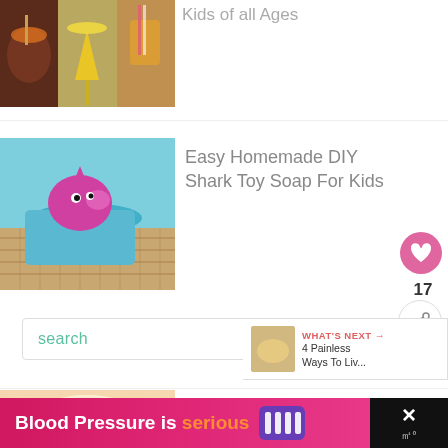Kids of all Ages
[Figure (photo): Collage of three drink images with orange, yellow and margarita style drinks]
[Figure (photo): Pink shark toy soap sitting in a blue soap block on a wicker basket tray]
Easy Homemade DIY Shark Toy Soap For Kids
17
search
WHAT'S NEXT → 4 Painless Ways To Liv...
Caramel Apple Crunch
[Figure (photo): Partial image of caramel apple crunch dish]
Blood Pressure is serious